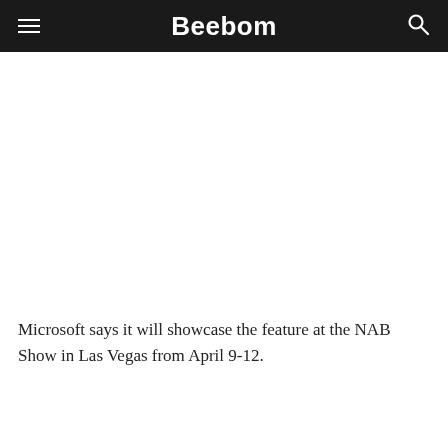Beebom
Microsoft says it will showcase the feature at the NAB Show in Las Vegas from April 9-12.